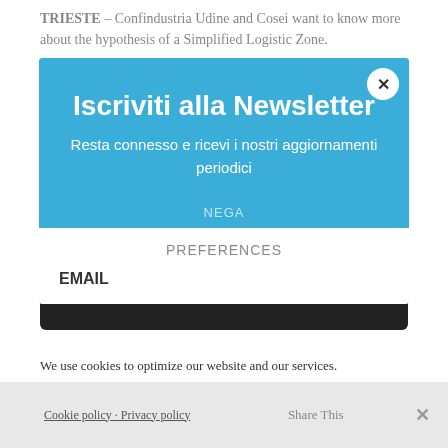TRIESTE – Confindustria Udine and Cosei want to know more about the hypothesis of a Simplified Logistic Zone. The association of industrialists and the Consortium for the economic development of Friuli have commissioned a consulting firm to draw up a study concerning the drafting of a strategic document for the feasibility of a Simplified Logistic Zone in Friuli. The SLZ, only one for each region, can also include areas that are not territorially adjacent, provided that those to...
We use cookies to optimize our website and our services.
[Figure (screenshot): Newsletter subscription modal dialog with blue top section titled 'Iscriviti alla Newsletter', subtitle 'Resta connesso e ricevi i nostri aggiornamenti periodici', NEGA button, and white bottom section with PREFERENCES label and EMAIL field. A close (x) button is in the top-right corner.]
Cookie policy · Privacy policy   Share This   ×